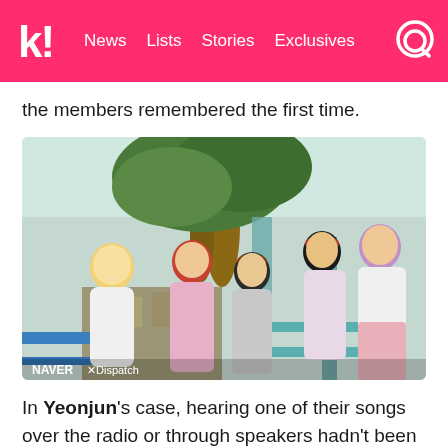k! News Lists Stories Exclusives
the members remembered the first time.
[Figure (photo): A group photo of five K-pop male idols (TXT - Tomorrow X Together) posing outdoors. One has yellow hair and white outfit on the left, center members have red/auburn hair in pink outfits, one wears a beret, and the rightmost member has purple/lavender hair in a white outfit. Background shows trees and teal/blue structural elements. NAVER x Dispatch watermark at bottom left.]
In Yeonjun's case, hearing one of their songs over the radio or through speakers hadn't been